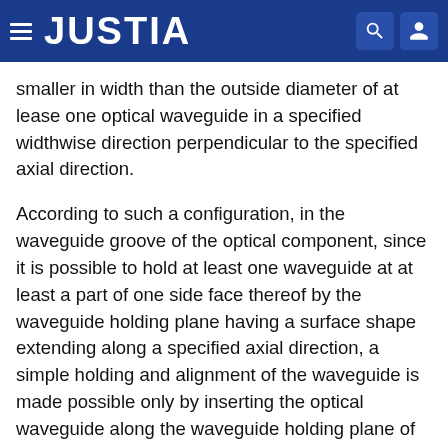JUSTIA
smaller in width than the outside diameter of at lease one optical waveguide in a specified widthwise direction perpendicular to the specified axial direction.
According to such a configuration, in the waveguide groove of the optical component, since it is possible to hold at least one waveguide at at least a part of one side face thereof by the waveguide holding plane having a surface shape extending along a specified axial direction, a simple holding and alignment of the waveguide is made possible only by inserting the optical waveguide along the waveguide holding plane of the waveguide groove.
Further, the opening portion of the waveguide groove extends substantially oppositely to the waveguide holing plane, and has a width smaller than the outside diameter of the waveguide, the waveguide in a specified